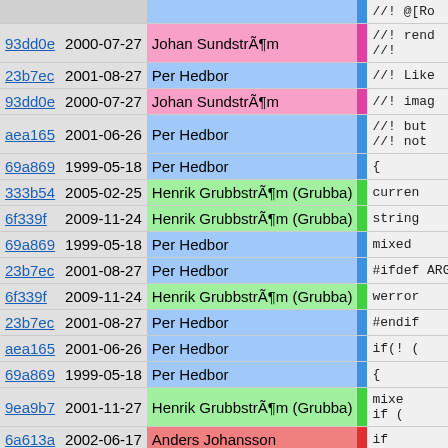| Hash | Date | Author |  | Code |
| --- | --- | --- | --- | --- |
| 93dd0e | 2000-07-27 | Johan SundstrÃ¶m | pink | //! @[Ro |
| 23b7ec | 2001-08-27 | Per Hedbor | blue | //! Like |
| 93dd0e | 2000-07-27 | Johan SundstrÃ¶m | pink | //! imag |
| aea165 | 2001-06-26 | Per Hedbor | blue | //! but
//! not |
| 69a869 | 1999-05-18 | Per Hedbor | blue | { |
| 333b54 | 2005-02-25 | Henrik GrubbstrÃ¶m (Grubba) | green | curren |
| 6f339f | 2009-11-24 | Henrik GrubbstrÃ¶m (Grubba) | green | string |
| 69a869 | 1999-05-18 | Per Hedbor | blue | mixed |
| 23b7ec | 2001-08-27 | Per Hedbor | blue | #ifdef ARG |
| 6f339f | 2009-11-24 | Henrik GrubbstrÃ¶m (Grubba) | green | werror |
| 23b7ec | 2001-08-27 | Per Hedbor | blue | #endif |
| aea165 | 2001-06-26 | Per Hedbor | blue | if(! ( |
| 69a869 | 1999-05-18 | Per Hedbor | blue | { |
| 9ea9b7 | 2001-11-27 | Henrik GrubbstrÃ¶m (Grubba) | green | mixed
if ( |
| 6a613a | 2002-06-17 | Anders Johansson | salmon | if |